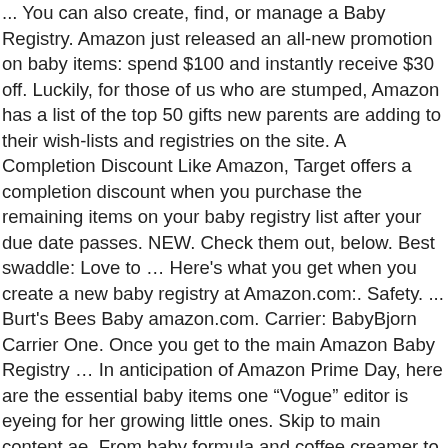... You can also create, find, or manage a Baby Registry. Amazon just released an all-new promotion on baby items: spend $100 and instantly receive $30 off. Luckily, for those of us who are stumped, Amazon has a list of the top 50 gifts new parents are adding to their wish-lists and registries on the site. A Completion Discount Like Amazon, Target offers a completion discount when you purchase the remaining items on your baby registry list after your due date passes. NEW. Check them out, below. Best swaddle: Love to … Here's what you get when you create a new baby registry at Amazon.com:. Safety. ... Burt's Bees Baby amazon.com. Carrier: BabyBjorn Carrier One. Once you get to the main Amazon Baby Registry … In anticipation of Amazon Prime Day, here are the essential baby items one “Vogue” editor is eyeing for her growing little ones. Skip to main content.ae. From baby formula and coffee creamer to beef jerky and granola bars, items are arriving spoiled and well past their sell-by date, Amazon customers say. The amount of gear you need to purchase before a baby